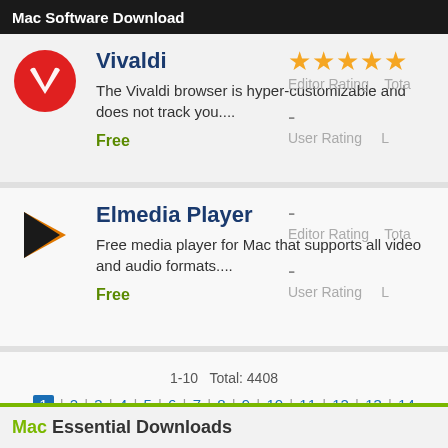Mac Software Download
Vivaldi
The Vivaldi browser is hyper-customizable and does not track you....
Free
[Figure (other): Vivaldi browser logo - red circular icon with V shape]
Editor Rating: 4 stars, User Rating: -
Elmedia Player
Free media player for Mac that supports all video and audio formats....
Free
[Figure (other): Elmedia Player logo - black and orange triangle/arrow icon]
Editor Rating: -, User Rating: -
1-10  Total: 4408
1 | 2 | 3 | 4 | 5 | 6 | 7 | 8 | 9 | 10 | 11 | 12 | 13 | 14
Mac Essential Downloads